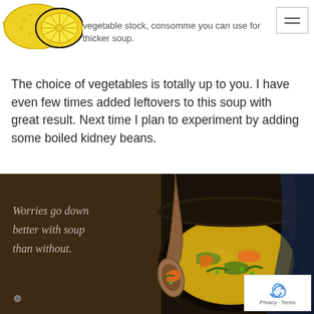[Figure (logo): Yellow lemon/citrus logo with two lemons, one whole and one sliced]
vegetable stock, consomme you can use for thicker soup.
The choice of vegetables is totally up to you. I have even few times added leftovers to this soup with great result. Next time I plan to experiment by adding some boiled kidney beans.
[Figure (photo): Dark moody photo of a bowl of vegetable soup with a wooden spoon lifting vegetables, text overlay reading: Worries go down better with soup than without.]
Privacy · Terms